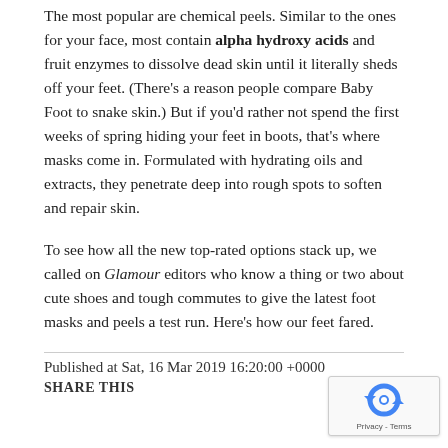The most popular are chemical peels. Similar to the ones for your face, most contain alpha hydroxy acids and fruit enzymes to dissolve dead skin until it literally sheds off your feet. (There's a reason people compare Baby Foot to snake skin.) But if you'd rather not spend the first weeks of spring hiding your feet in boots, that's where masks come in. Formulated with hydrating oils and extracts, they penetrate deep into rough spots to soften and repair skin.
To see how all the new top-rated options stack up, we called on Glamour editors who know a thing or two about cute shoes and tough commutes to give the latest foot masks and peels a test run. Here's how our feet fared.
Published at Sat, 16 Mar 2019 16:20:00 +0000
SHARE THIS
[Figure (other): reCAPTCHA widget overlay showing a circular arrow icon with 'Privacy - Terms' text below]